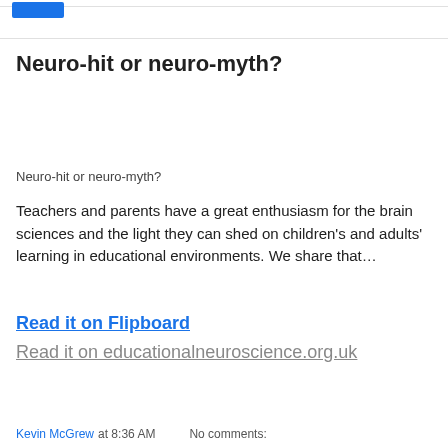Neuro-hit or neuro-myth?
Neuro-hit or neuro-myth?
Teachers and parents have a great enthusiasm for the brain sciences and the light they can shed on children's and adults' learning in educational environments. We share that…
Read it on Flipboard
Read it on educationalneuroscience.org.uk
Kevin McGrew at 8:36 AM   No comments: